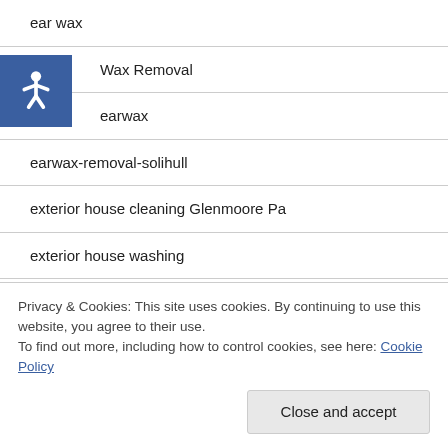ear wax
Ear Wax Removal
earwax
earwax-removal-solihull
exterior house cleaning Glenmoore Pa
exterior house washing
exterior wash
Privacy & Cookies: This site uses cookies. By continuing to use this website, you agree to their use.
To find out more, including how to control cookies, see here: Cookie Policy
Close and accept